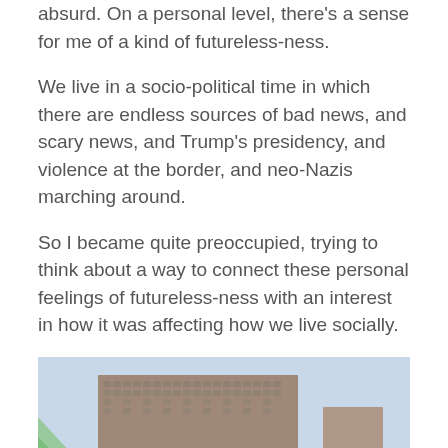absurd. On a personal level, there's a sense for me of a kind of futureless-ness.
We live in a socio-political time in which there are endless sources of bad news, and scary news, and Trump's presidency, and violence at the border, and neo-Nazis marching around.
So I became quite preoccupied, trying to think about a way to connect these personal feelings of futureless-ness with an interest in how it was affecting how we live socially.
[Figure (photo): Beach scene with people sitting and standing on a sandy beach with colorful umbrellas (green, yellow, blue, red, teal), a large multi-story brick apartment or hotel building in the background under a pale blue sky.]